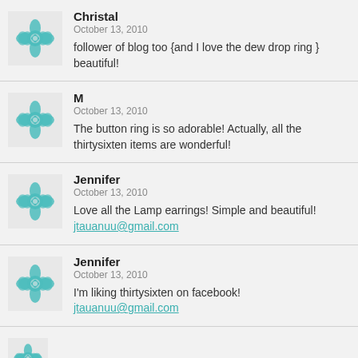Christal
October 13, 2010
follower of blog too {and I love the dew drop ring } beautiful!
M
October 13, 2010
The button ring is so adorable! Actually, all the thirtysixten items are wonderful!
Jennifer
October 13, 2010
Love all the Lamp earrings! Simple and beautiful!
jtauanuu@gmail.com
Jennifer
October 13, 2010
I'm liking thirtysixten on facebook!
jtauanuu@gmail.com
Jennifer (partial)